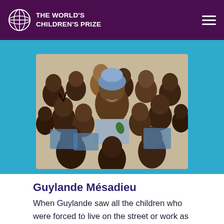THE WORLD'S CHILDREN'S PRIZE
[Figure (photo): A woman in a blue headwrap surrounded by many smiling children, group photo against a light beige wall. The woman is centered and the children crowd around her from all sides.]
Guylande Mésadieu
When Guylande saw all the children who were forced to live on the street or work as domestic slaves in Haiti, she and her friends set up the organization Zanmi